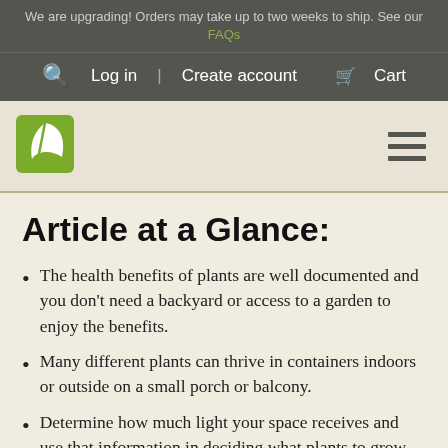We are upgrading! Orders may take up to two weeks to ship. See our FAQs
Search  Log in | Create account  Cart
[Figure (logo): Green leaf logo icon for a plant/garden website, with hamburger menu icon on the right]
Article at a Glance:
The health benefits of plants are well documented and you don't need a backyard or access to a garden to enjoy the benefits.
Many different plants can thrive in containers indoors or outside on a small porch or balcony.
Determine how much light your space receives and use that information in deciding what plants to grow.
More is not better when it comes to watering your plant friends. They do best if you let the soil dry a little (but not too